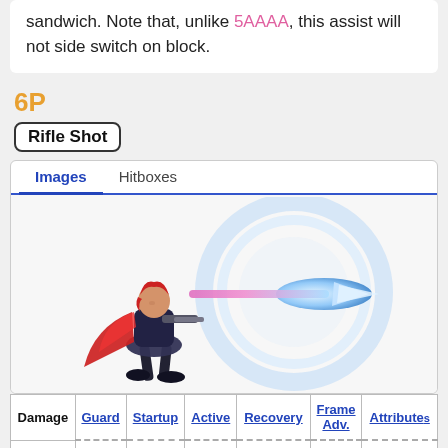sandwich. Note that, unlike 5AAAA, this assist will not side switch on block.
6P
Rifle Shot
[Figure (illustration): Anime-style character in black outfit with red cape firing a large glowing blue/white energy bullet from a rifle to the right.]
| Damage | Guard | Startup | Active | Recovery | Frame Adv. | Attributes |
| --- | --- | --- | --- | --- | --- | --- |
| 1500 | All | (18)+11 | Until Hit | Total: 54 | -16 | P1 |